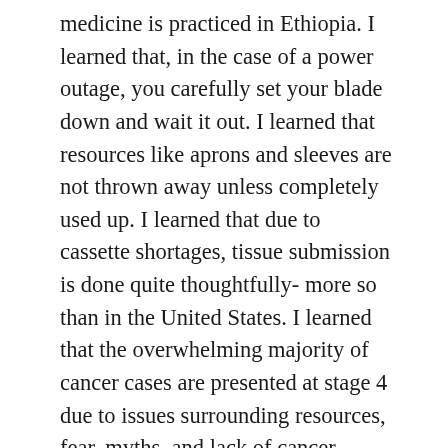medicine is practiced in Ethiopia. I learned that, in the case of a power outage, you carefully set your blade down and wait it out. I learned that resources like aprons and sleeves are not thrown away unless completely used up. I learned that due to cassette shortages, tissue submission is done quite thoughtfully- more so than in the United States. I learned that the overwhelming majority of cancer cases are presented at stage 4 due to issues surrounding resources, fear, myths, and lack of cancer education. But most importantly, I learned that the labs in Addis Ababa, Ethiopia, are doing an amazing job with the resources they are given and are eager for opportunities to positively impact patient care.